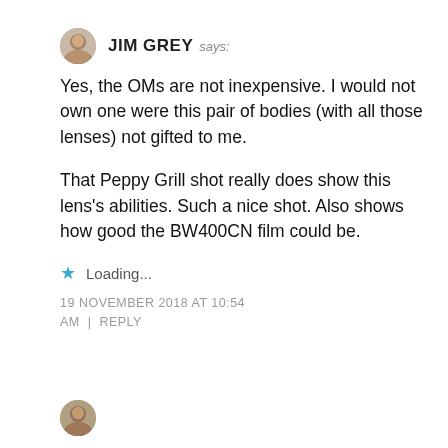[Figure (photo): Small circular avatar photo of Jim Grey]
JIM GREY says:
Yes, the OMs are not inexpensive. I would not own one were this pair of bodies (with all those lenses) not gifted to me.
That Peppy Grill shot really does show this lens’s abilities. Such a nice shot. Also shows how good the BW400CN film could be.
Loading...
19 NOVEMBER 2018 AT 10:54 AM | REPLY
[Figure (photo): Small circular avatar photo at bottom, partially visible]